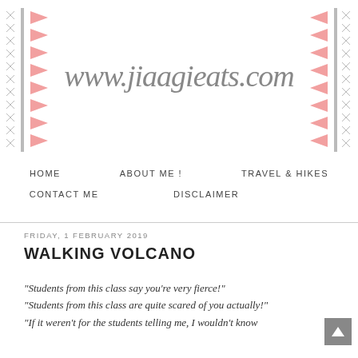[Figure (logo): Blog header banner with decorative tribal/aztec border pattern on left and right sides, and cursive script text 'www.jiaagieats.com' in the center on white background]
HOME   ABOUT ME!   TRAVEL & HIKES
CONTACT ME   DISCLAIMER
FRIDAY, 1 FEBRUARY 2019
WALKING VOLCANO
"Students from this class say you're very fierce!"
"Students from this class are quite scared of you actually!"
"If it weren't for the students telling me, I wouldn't know